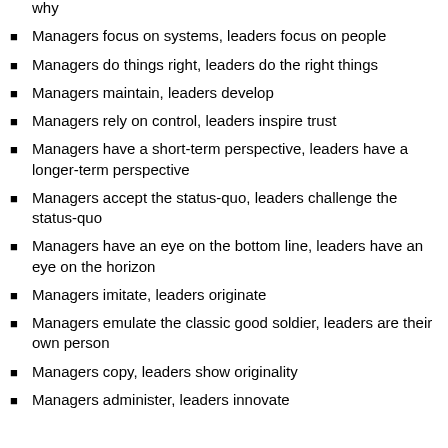why
Managers focus on systems, leaders focus on people
Managers do things right, leaders do the right things
Managers maintain, leaders develop
Managers rely on control, leaders inspire trust
Managers have a short-term perspective, leaders have a longer-term perspective
Managers accept the status-quo, leaders challenge the status-quo
Managers have an eye on the bottom line, leaders have an eye on the horizon
Managers imitate, leaders originate
Managers emulate the classic good soldier, leaders are their own person
Managers copy, leaders show originality
Managers administer, leaders innovate